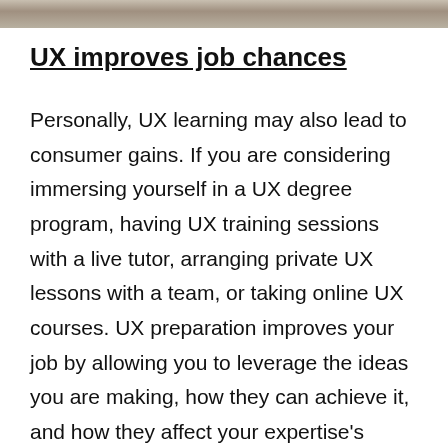[Figure (photo): Top portion of a photograph, showing a stone or textured surface background]
UX improves job chances
Personally, UX learning may also lead to consumer gains. If you are considering immersing yourself in a UX degree program, having UX training sessions with a live tutor, arranging private UX lessons with a team, or taking online UX courses. UX preparation improves your job by allowing you to leverage the ideas you are making, how they can achieve it, and how they affect your expertise's usefulness. Knowing the UX